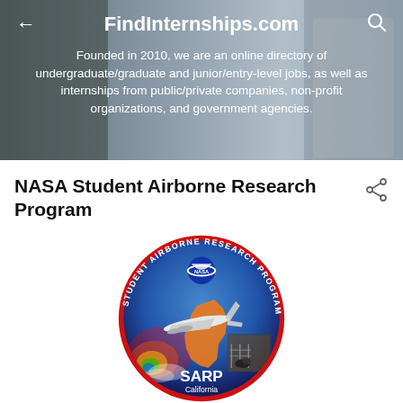FindInternships.com
Founded in 2010, we are an online directory of undergraduate/graduate and junior/entry-level jobs, as well as internships from public/private companies, non-profit organizations, and government agencies.
NASA Student Airborne Research Program
[Figure (logo): Circular patch logo for NASA Student Airborne Research Program (SARP) showing an aircraft flying over a map of California with atmospheric/environmental data visualization imagery, farm imagery, and NASA logo. Text around the border reads STUDENT AIRBORNE RESEARCH PROGRAM. Center bottom text: SARP California.]